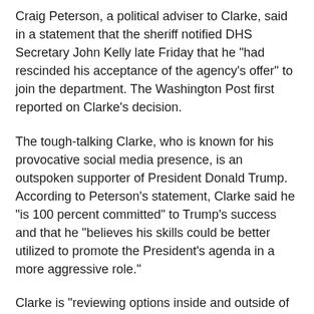Craig Peterson, a political adviser to Clarke, said in a statement that the sheriff notified DHS Secretary John Kelly late Friday that he "had rescinded his acceptance of the agency's offer" to join the department. The Washington Post first reported on Clarke's decision.
The tough-talking Clarke, who is known for his provocative social media presence, is an outspoken supporter of President Donald Trump. According to Peterson's statement, Clarke said he "is 100 percent committed" to Trump's success and that he "believes his skills could be better utilized to promote the President's agenda in a more aggressive role."
Clarke is "reviewing options inside and outside of government," the statement said.
A DHS spokesman said by email Sunday that Clarke is no